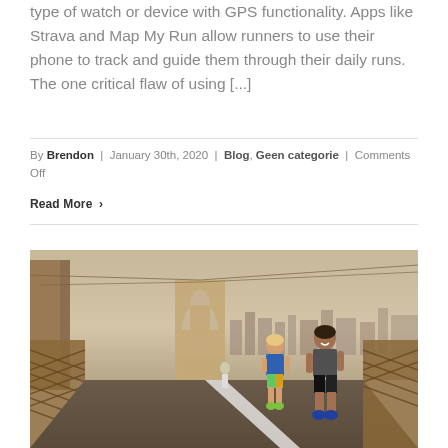type of watch or device with GPS functionality. Apps like Strava and Map My Run allow runners to use their phone to track and guide them through their daily runs. The one critical flaw of using [...]
By Brendon | January 30th, 2020 | Blog, Geen categorie | Comments Off
Read More ›
[Figure (photo): Two runners jogging on the Brooklyn Bridge walkway with the bridge arch and New York City skyline visible in the background. A woman in a blue top and colorful shorts and a man in a dark tank top and black shorts are running toward the camera.]